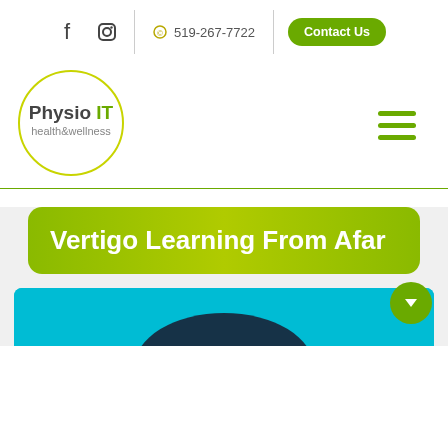f  [Instagram icon]  | © 519-267-7722 | Contact Us
[Figure (logo): Physio IT health&wellness circular logo with olive/yellow-green border]
[Figure (other): Hamburger menu icon (three horizontal green lines)]
Vertigo Learning From Afar
[Figure (photo): Partial photo preview of a person, teal/cyan background, at the bottom of the page]